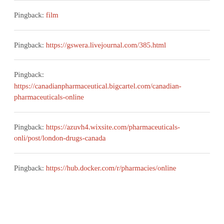Pingback: film
Pingback: https://gswera.livejournal.com/385.html
Pingback: https://canadianpharmaceutical.bigcartel.com/canadian-pharmaceuticals-online
Pingback: https://azuvh4.wixsite.com/pharmaceuticals-onli/post/london-drugs-canada
Pingback: https://hub.docker.com/r/pharmacies/online